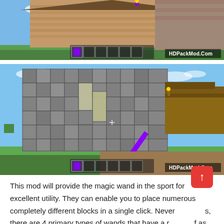[Figure (screenshot): Minecraft game screenshot showing a wooden building with hotbar at bottom and HDPackMod.Com watermark]
[Figure (screenshot): Minecraft game screenshot showing a cobblestone building with glass windows, purple wand being held, hotbar at bottom and HDPackMod.Com watermark]
This mod will provide the magic wand in the sport for excellent utility. They can enable you to place numerous completely different blocks in a single click. Neverths, there are 4 primary types of wands that have a range of as many as 1024 blocks. On top of that, it also allows